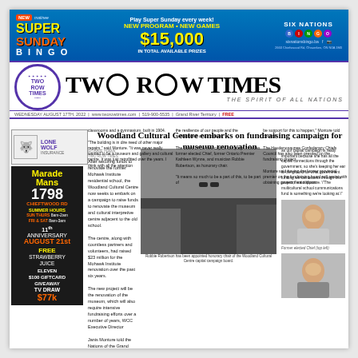[Figure (advertisement): Six Nations Super Sunday Bingo advertisement banner - blue background, $15,000 in total available prizes, New Program New Games]
[Figure (logo): Two Row Times newspaper logo with circular emblem]
TWO ROW TIMES
THE SPIRIT OF ALL NATIONS
WEDNESDAY AUGUST 17TH, 2022 | www.tworowtimes.com | 519-900-5535 | Grand River Territory | FREE
Woodland Cultural Centre embarks on fundraising campaign for museum renovation
[Figure (advertisement): Lone Wolf advertisement]
[Figure (advertisement): Marade Mans advertisement - 1798 Chieftwood Rd, Summer Hours, 11th Anniversary August 21st, Free Strawberry Juice, Eleven $100 Giftcard Giveaway, TV Draw]
[Figure (photo): Robbie Robertson has been appointed honorary chair of the Woodland Cultural Centre capital campaign board]
Robbie Robertson has been appointed honorary chair of the Woodland Cultural Centre capital campaign board.
After securing funds to renovate the former Mohawk Institute residential school, the Woodland Cultural Centre now seeks to embark on a campaign to raise funds to renovate the museum and cultural interpretive centre adjacent to the old school.
The centre, along with countless partners and volunteers, had raised $23 million for the Mohawk Institute renovation over the past six years.
The new project will be the renovation of the museum, which will also require intensive fundraising efforts over a number of years, WCC Executive Director
Janis Monture told the Nations of the Grand River Elected Council.
On the grounds are two buildings - the former Mohawk Institute dormitory building and the smaller
classrooms and a gymnasium, built in 1904.
"The building is in dire need of other major repairs," said Monture. "It was never really wanted to be a museum and gallery and cultural centre, it was just retrofitted over the years. I think with all the attention
the resilience of our people and the revitalization of our culture."
The board of the new capital campaign includes former elected Chief, former Ontario Premier Kathleen Wynne, and musician Robbie Robertson, as honorary chair.
"It means so much to be a part of this, to be part of
be support for this to happen," Monture told council.
The Haudenosaunee Confederacy Chiefs Council has also been pressed on the fundraising project.
Monture said having the former provincial premier on the fundraising board will assist with obtaining government support.
"As our capital campaign is really important because she has all the capital connections through the government, so she's keeping her ear to the ground for what government funding we can access through this project," said Monture. "The multicultural school communications fund is something we're looking at."
[Figure (photo): Former elected Chief (portrait photo)]
Former elected Chief (top left)
[Figure (photo): Portrait photo (bottom right panel)]